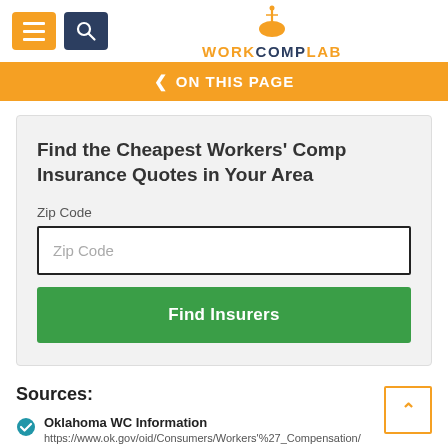WORKCOMPLAB
< ON THIS PAGE
Find the Cheapest Workers' Comp Insurance Quotes in Your Area
Zip Code
Zip Code (input field)
Find Insurers
Sources:
Oklahoma WC Information
https://www.ok.gov/oid/Consumers/Workers'%27_Compensation/